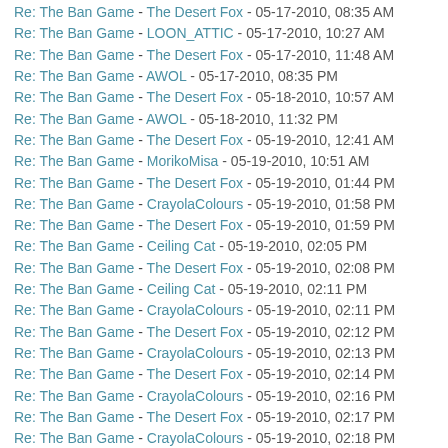Re: The Ban Game - The Desert Fox - 05-17-2010, 08:35 AM
Re: The Ban Game - LOON_ATTIC - 05-17-2010, 10:27 AM
Re: The Ban Game - The Desert Fox - 05-17-2010, 11:48 AM
Re: The Ban Game - AWOL - 05-17-2010, 08:35 PM
Re: The Ban Game - The Desert Fox - 05-18-2010, 10:57 AM
Re: The Ban Game - AWOL - 05-18-2010, 11:32 PM
Re: The Ban Game - The Desert Fox - 05-19-2010, 12:41 AM
Re: The Ban Game - MorikoMisa - 05-19-2010, 10:51 AM
Re: The Ban Game - The Desert Fox - 05-19-2010, 01:44 PM
Re: The Ban Game - CrayolaColours - 05-19-2010, 01:58 PM
Re: The Ban Game - The Desert Fox - 05-19-2010, 01:59 PM
Re: The Ban Game - Ceiling Cat - 05-19-2010, 02:05 PM
Re: The Ban Game - The Desert Fox - 05-19-2010, 02:08 PM
Re: The Ban Game - Ceiling Cat - 05-19-2010, 02:11 PM
Re: The Ban Game - CrayolaColours - 05-19-2010, 02:11 PM
Re: The Ban Game - The Desert Fox - 05-19-2010, 02:12 PM
Re: The Ban Game - CrayolaColours - 05-19-2010, 02:13 PM
Re: The Ban Game - The Desert Fox - 05-19-2010, 02:14 PM
Re: The Ban Game - CrayolaColours - 05-19-2010, 02:16 PM
Re: The Ban Game - The Desert Fox - 05-19-2010, 02:17 PM
Re: The Ban Game - CrayolaColours - 05-19-2010, 02:18 PM
Re: The Ban Game - The Desert Fox - 05-19-2010, 07:36 PM
Re: The Ban Game - AWOL - 05-19-2010, 07:44 PM